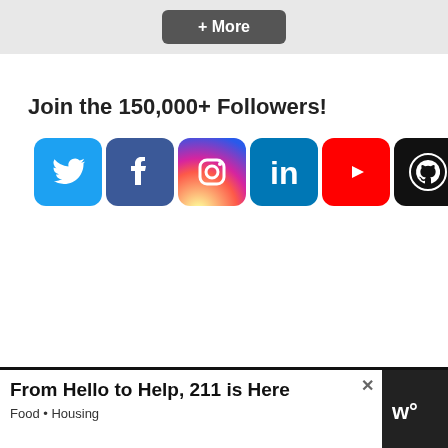[Figure (other): + More button in gray bar at top]
Join the 150,000+ Followers!
[Figure (infographic): Row of social media icons: Twitter, Facebook, Instagram, LinkedIn, YouTube, GitHub, RSS, More (+)]
[Figure (other): Advertisement banner: 'From Hello to Help, 211 is Here' with subtitle 'Food • Housing' and a logo on the right]